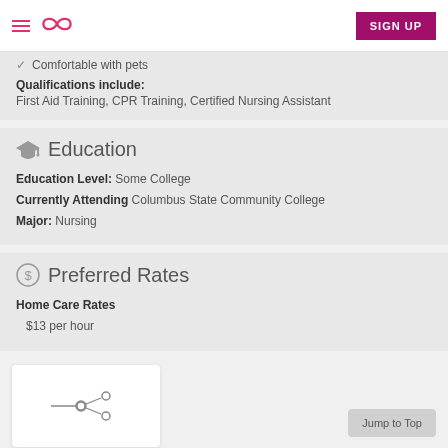SIGN UP
Comfortable with pets
Qualifications include: First Aid Training, CPR Training, Certified Nursing Assistant
Education
Education Level: Some College
Currently Attending Columbus State Community College
Major: Nursing
Preferred Rates
Home Care Rates
$13 per hour
[Figure (other): Share profile card with share icon and lines]
Jump to Top